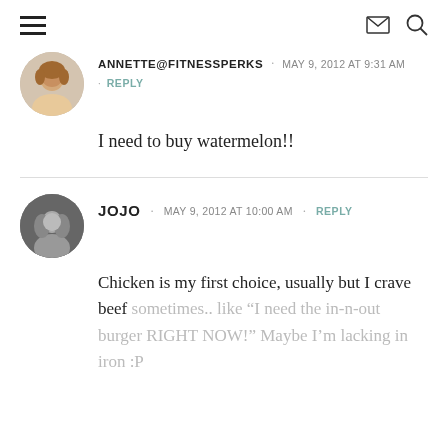Navigation header with hamburger menu, envelope icon, and search icon
ANNETTE@FITNESSPERKS · MAY 9, 2012 AT 9:31 AM · REPLY
I need to buy watermelon!!
JOJO · MAY 9, 2012 AT 10:00 AM · REPLY
Chicken is my first choice, usually but I crave beef sometimes.. like "I need the in-n-out burger RIGHT NOW!" Maybe I'm lacking in iron :P